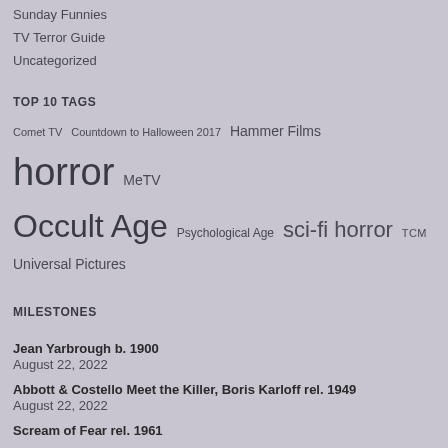Sunday Funnies
TV Terror Guide
Uncategorized
TOP 10 TAGS
Comet TV Countdown to Halloween 2017 Hammer Films horror MeTV Occult Age Psychological Age sci-fi horror TCM Universal Pictures
MILESTONES
Jean Yarbrough b. 1900
August 22, 2022
Abbott & Costello Meet the Killer, Boris Karloff rel. 1949
August 22, 2022
Scream of Fear rel. 1961